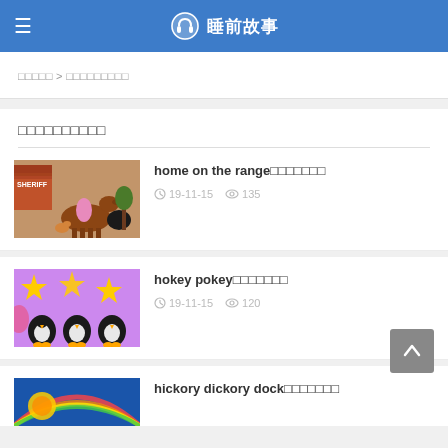≡  🎧 睡前故事
□□□□□ > □□□□□□□□□
□□□□□□□□□□
[Figure (illustration): Animated cartoon thumbnail showing horses and characters in a western/ranch scene for 'home on the range']
home on the range□□□□□□□
19-11-15  135
[Figure (illustration): Animated cartoon thumbnail showing penguins with yellow stars on purple background for 'hokey pokey']
hokey pokey□□□□□□□
19-11-15  120
[Figure (illustration): Colorful animated thumbnail for 'hickory dickory dock']
hickory dickory dock□□□□□□□